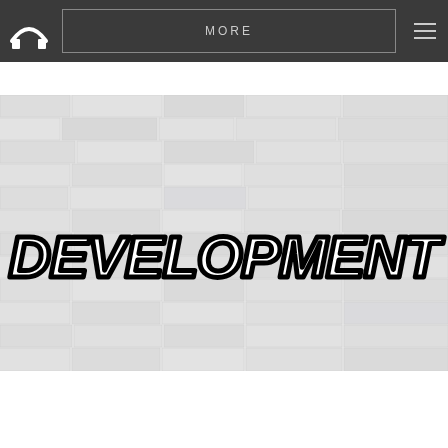[Figure (logo): White arch/bridge logo on dark background]
MORE
[Figure (illustration): Hamburger menu icon (three horizontal lines) on dark background]
[Figure (photo): White brick wall with graffiti-style text reading DEVELOPMENT in black outlined bubble letters]